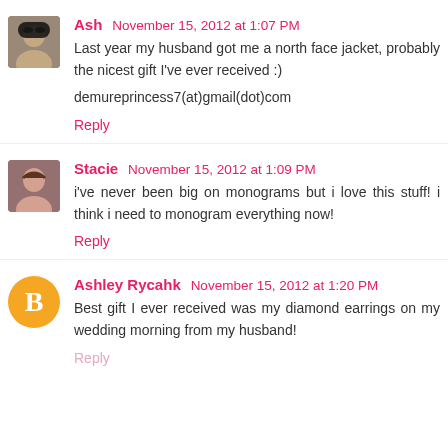Ash November 15, 2012 at 1:07 PM
Last year my husband got me a north face jacket, probably the nicest gift I've ever received :)

demureprincess7(at)gmail(dot)com
Reply
Stacie November 15, 2012 at 1:09 PM
i've never been big on monograms but i love this stuff! i think i need to monogram everything now!
Reply
Ashley Rycahk November 15, 2012 at 1:20 PM
Best gift I ever received was my diamond earrings on my wedding morning from my husband!
Reply